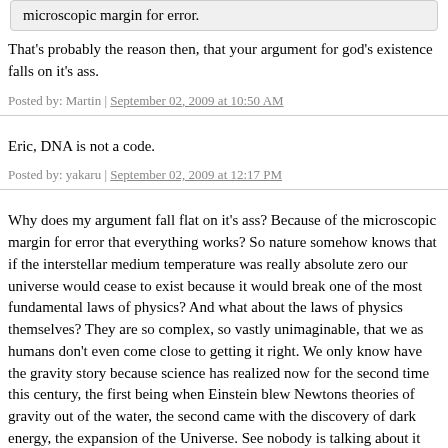microscopic margin for error.
That's probably the reason then, that your argument for god's existence falls on it's ass.
Posted by: Martin | September 02, 2009 at 10:50 AM
Eric, DNA is not a code.
Posted by: yakaru | September 02, 2009 at 12:17 PM
Why does my argument fall flat on it's ass? Because of the microscopic margin for error that everything works? So nature somehow knows that if the interstellar medium temperature was really absolute zero our universe would cease to exist because it would break one of the most fundamental laws of physics? And what about the laws of physics themselves? They are so complex, so vastly unimaginable, that we as humans don't even come close to getting it right. We only know have the gravity story because science has realized now for the second time this century, the first being when Einstein blew Newtons theories of gravity out of the water, the second came with the discovery of dark energy, and the expansion of the Universe. See nobody is talking about it and I am surprised more people haven't made this leap, but if you know anything about General